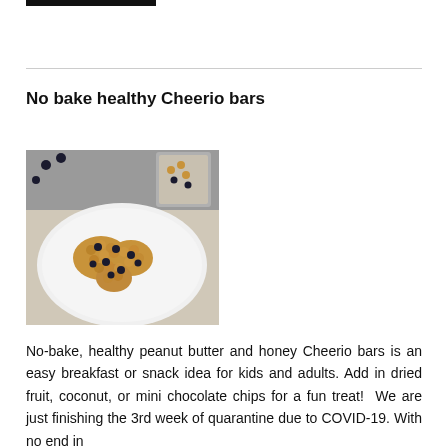No bake healthy Cheerio bars
[Figure (photo): Photo of heart-shaped no-bake Cheerio bars with blueberries on a white plate, with more Cheerio bars in background]
No-bake, healthy peanut butter and honey Cheerio bars is an easy breakfast or snack idea for kids and adults. Add in dried fruit, coconut, or mini chocolate chips for a fun treat!  We are just finishing the 3rd week of quarantine due to COVID-19. With no end in